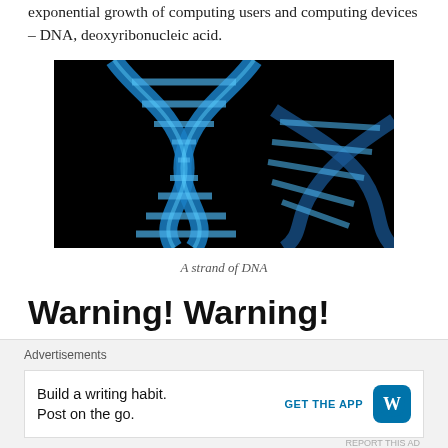exponential growth of computing users and computing devices – DNA, deoxyribonucleic acid.
[Figure (photo): A glowing blue DNA double helix strand against a black background]
A strand of DNA
Warning! Warning!
Advertisements
Build a writing habit. Post on the go.
GET THE APP